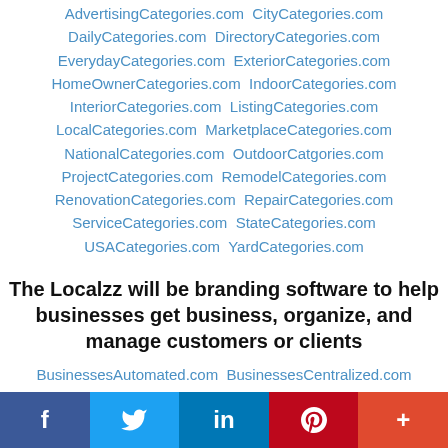AdvertisingCategories.com  CityCategories.com
DailyCategories.com  DirectoryCategories.com
EverydayCategories.com  ExteriorCategories.com
HomeOwnerCategories.com  IndoorCategories.com
InteriorCategories.com  ListingCategories.com
LocalCategories.com  MarketplaceCategories.com
NationalCategories.com  OutdoorCatgories.com
ProjectCategories.com  RemodelCategories.com
RenovationCategories.com  RepairCategories.com
ServiceCategories.com  StateCategories.com
USACategories.com  YardCategories.com
The Localzz will be branding software to help businesses get business, organize, and manage customers or clients
BusinessesAutomated.com  BusinessesCentralized.com
BusinessesContacted.com  BusinessesCredited.com
BusinessesDigitalized.com
f  [twitter]  in  P  +